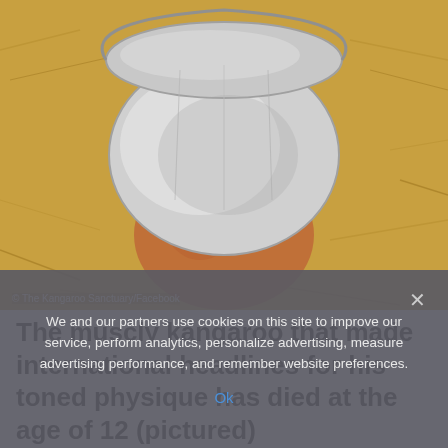[Figure (photo): A kangaroo with its head inside a large metal bucket/tin, photographed outdoors on dry hay/grass ground. The kangaroo's orange-brown fur and muscular arms are visible holding the bucket.]
© The Kangaroo Sanctuary/Facebook
The muscly kangaroo that made international headlines for his toned physique has died at the age of 12 (pictured)
We and our partners use cookies on this site to improve our service, perform analytics, personalize advertising, measure advertising performance, and remember website preferences.